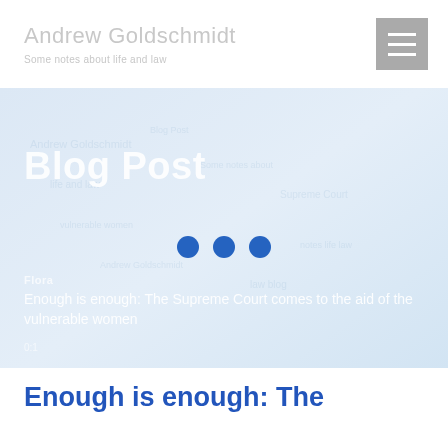Andrew Goldschmidt – Some notes about life and law
[Figure (screenshot): Hamburger menu icon button (three horizontal white lines on grey background)]
Blog Post
[Figure (infographic): Three blue dots loading indicator]
Flora
Enough is enough: The Supreme Court comes to the aid of the vulnerable women
0:1
Enough is enough: The